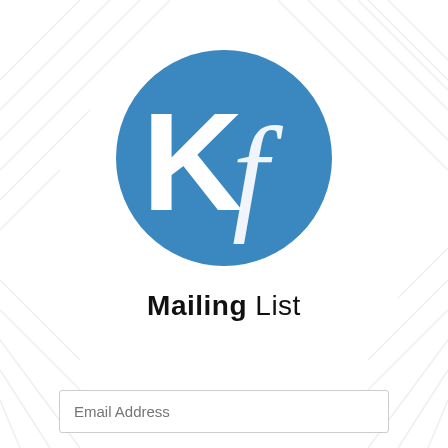[Figure (logo): Circular blue logo with white letter K and stylized italic letter f, representing Kf brand]
Mailing List
Email Address
Sign up for New Posts in your inbox!